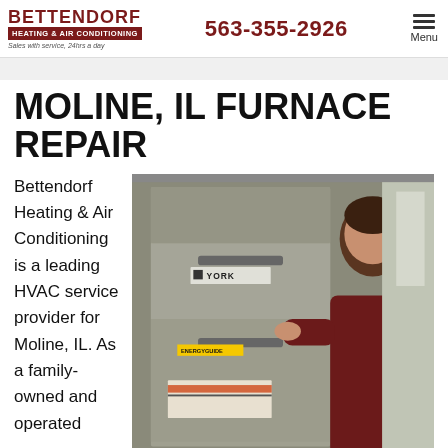BETTENDORF HEATING & AIR CONDITIONING | Sales with service, 24hrs a day | 563-355-2926 | Menu
MOLINE, IL FURNACE REPAIR
Bettendorf Heating & Air Conditioning is a leading HVAC service provider for Moline, IL. As a family-owned and operated
[Figure (photo): HVAC technician in maroon shirt inspecting a York brand furnace unit with EnergyGuide label]